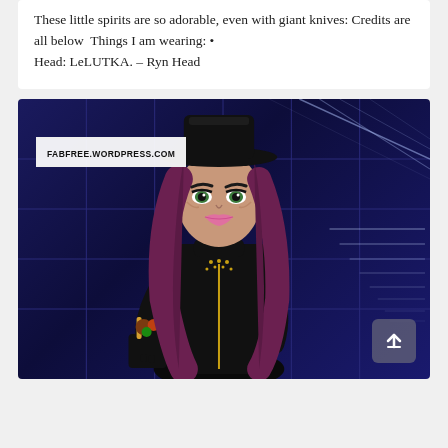These little spirits are so adorable, even with giant knives: Credits are all below  Things I am wearing: • Head: LeLUTKA. – Ryn Head
[Figure (illustration): 3D rendered avatar of a woman with long dark pink/mauve hair wearing a black wide-brim hat and black turtleneck outfit, holding a black cup with items in it. Background is a dark navy blue tiled wall with glowing grid lines. A 'FABFREE.WORDPRESS.COM' watermark label appears in the upper left. A scroll-to-top button is visible in the lower right corner.]